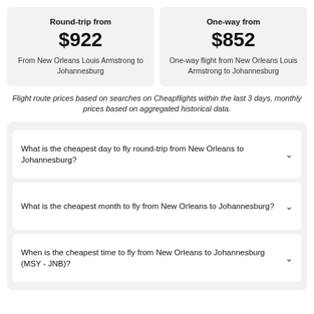Round-trip from
$922
From New Orleans Louis Armstrong to Johannesburg
One-way from
$852
One-way flight from New Orleans Louis Armstrong to Johannesburg
Flight route prices based on searches on Cheapflights within the last 3 days, monthly prices based on aggregated historical data.
What is the cheapest day to fly round-trip from New Orleans to Johannesburg?
What is the cheapest month to fly from New Orleans to Johannesburg?
When is the cheapest time to fly from New Orleans to Johannesburg (MSY - JNB)?